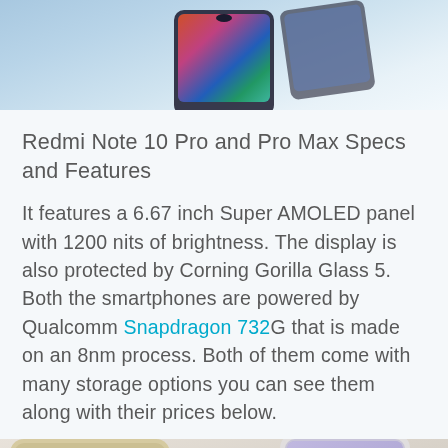[Figure (photo): Top portion of page showing a smartphone with colorful display, photographed against a light blue background]
Redmi Note 10 Pro and Pro Max Specs and Features
It features a 6.67 inch Super AMOLED panel with 1200 nits of brightness. The display is also protected by Corning Gorilla Glass 5. Both the smartphones are powered by Qualcomm Snapdragon 732G that is made on an 8nm process. Both of them come with many storage options you can see them along with their prices below.
[Figure (photo): Bottom portion of page showing two smartphones — one gold/champagne colored and one with a purple/lavender screen — against a beige background]